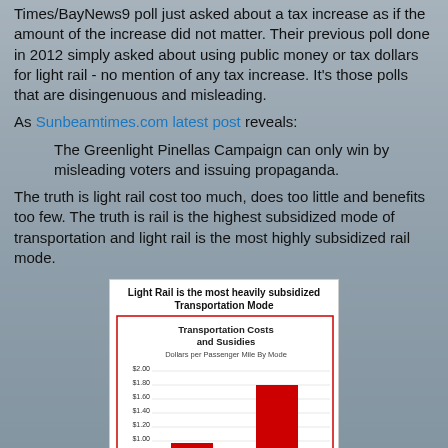Times/BayNews9 poll just asked about a tax increase as if the amount of the increase did not matter. Their previous poll done in 2012 simply asked about using public money or tax dollars for light rail - no mention of any tax increase. It's those polls that are disingenuous and misleading.
As Sunbeamtimes.com latest post reveals:
The Greenlight Pinellas Campaign can only win by misleading voters and issuing propaganda.
The truth is light rail cost too much, does too little and benefits too few. The truth is rail is the highest subsidized mode of transportation and light rail is the most highly subsidized rail mode.
[Figure (bar-chart): Light Rail is the most heavily subsidized Transportation Mode]